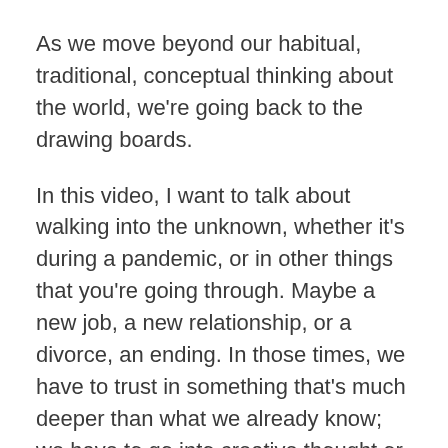As we move beyond our habitual, traditional, conceptual thinking about the world, we're going back to the drawing boards.
In this video, I want to talk about walking into the unknown, whether it's during a pandemic, or in other things that you're going through. Maybe a new job, a new relationship, or a divorce, an ending. In those times, we have to trust in something that's much deeper than what we already know; we have to go into creative thought or this unknown.
I want to give you a compass for getting through